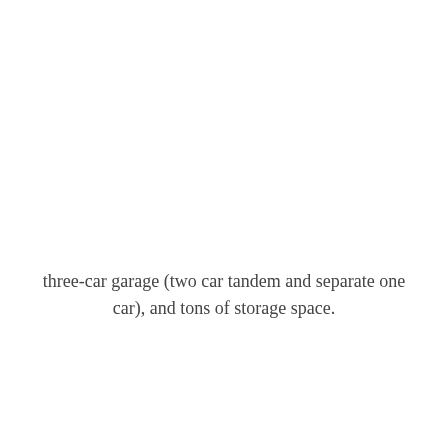three-car garage (two car tandem and separate one car), and tons of storage space.